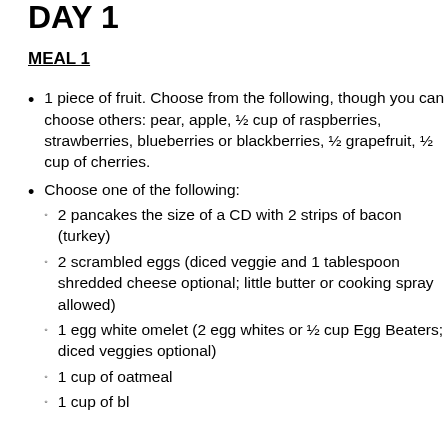DAY 1
MEAL 1
1 piece of fruit. Choose from the following, though you can choose others: pear, apple, ½ cup of raspberries, strawberries, blueberries or blackberries, ½ grapefruit, ½ cup of cherries.
Choose one of the following:
2 pancakes the size of a CD with 2 strips of bacon (turkey)
2 scrambled eggs (diced veggie and 1 tablespoon shredded cheese optional; little butter or cooking spray allowed)
1 egg white omelet (2 egg whites or ½ cup Egg Beaters; diced veggies optional)
1 cup of oatmeal
1 cup of blueberries